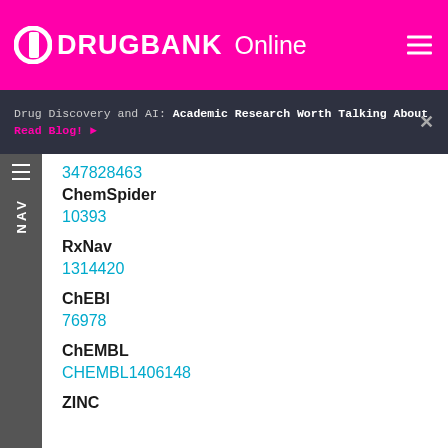DRUGBANK Online
Drug Discovery and AI: Academic Research Worth Talking About
Read Blog!
347828463
ChemSpider
10393
RxNav
1314420
ChEBI
76978
ChEMBL
CHEMBL1406148
ZINC